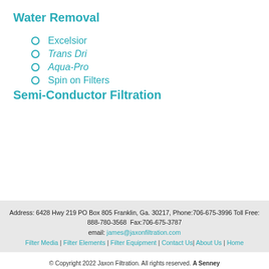Water Removal
Excelsior
Trans Dri
Aqua-Pro
Spin on Filters
Semi-Conductor Filtration
Address: 6428 Hwy 219 PO Box 805 Franklin, Ga. 30217, Phone:706-675-3996 Toll Free: 888-780-3568  Fax:706-675-3787 email: james@jaxonfiltration.com | Filter Media | Filter Elements | Filter Equipment | Contact Us | About Us | Home
© Copyright 2022 Jaxon Filtration. All rights reserved. A Senney